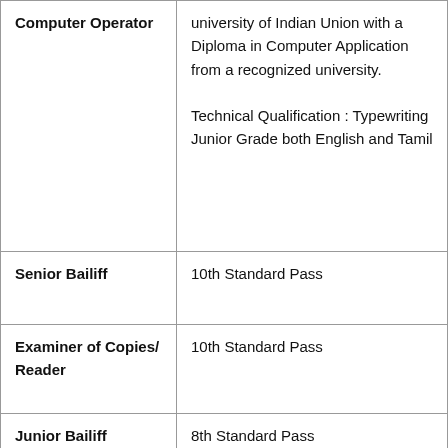| Post | Qualification |
| --- | --- |
| Computer Operator | university of Indian Union with a Diploma in Computer Application from a recognized university.

Technical Qualification : Typewriting Junior Grade both English and Tamil |
| Senior Bailiff | 10th Standard Pass |
| Examiner of Copies/ Reader | 10th Standard Pass |
| Junior Bailiff | 8th Standard Pass |
| Xerox Operator | Educational Qualification: Must have passed SSLC Public Exam or its Equivalent Course Technical Qualification: Certificate of Xerox |